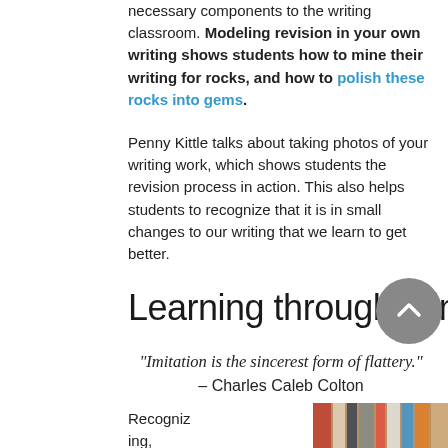necessary components to the writing classroom. Modeling revision in your own writing shows students how to mine their writing for rocks, and how to polish these rocks into gems.
Penny Kittle talks about taking photos of your writing work, which shows students the revision process in action. This also helps students to recognize that it is in small changes to our writing that we learn to get better.
Learning through Mimicry
“Imitation is the sincerest form of flattery.” – Charles Caleb Colton
Recognizing,
[Figure (photo): Photo of stacked books with colorful spines, blurred background]